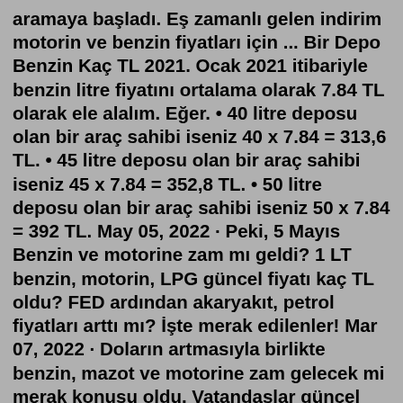aramaya başladı. Eş zamanlı gelen indirim motorin ve benzin fiyatları için ... Bir Depo Benzin Kaç TL 2021. Ocak 2021 itibariyle benzin litre fiyatını ortalama olarak 7.84 TL olarak ele alalım. Eğer. • 40 litre deposu olan bir araç sahibi iseniz 40 x 7.84 = 313,6 TL. • 45 litre deposu olan bir araç sahibi iseniz 45 x 7.84 = 352,8 TL. • 50 litre deposu olan bir araç sahibi iseniz 50 x 7.84 = 392 TL. May 05, 2022 · Peki, 5 Mayıs Benzin ve motorine zam mı geldi? 1 LT benzin, motorin, LPG güncel fiyatı kaç TL oldu? FED ardından akaryakıt, petrol fiyatları arttı mı? İşte merak edilenler! Mar 07, 2022 · Doların artmasıyla birlikte benzin, mazot ve motorine zam gelecek mi merak konusu oldu. Vatandaşlar güncel akaryakıt fiyatları kaç TL'dir merak ediyor. Peki, Güncel Benzin fiyatları 2022 ... Bir Depo Benzin Kaç TL 2021. Ocak 2021 itibariyle benzin litre fiyatını ortalama olarak 7.84 TL olarak ele alalım. Eğer. • 40 litre deposu olan bir araç sahibi iseniz 40 x 7.84 = 313,6 TL. • 45 litre deposu olan bir araç sahibi iseniz 45 x 7.84 = 352,8 TL. • 50 litre deposu olan bir araç sahibi iseniz